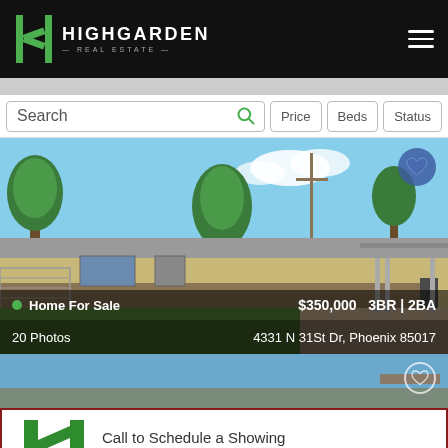Highgarden Real Estate
Search | Price | Beds | Status
[Figure (photo): Exterior photo of a single-story ranch home with green lawn, trees, and covered carport. Home For Sale listed at $350,000, 3BR | 2BA, 20 Photos, address: 4331 N 31St Dr, Phoenix 85017]
[Figure (photo): Partial view of a second property listing showing blue sky]
Call to Schedule a Showing
(480) 613-9411